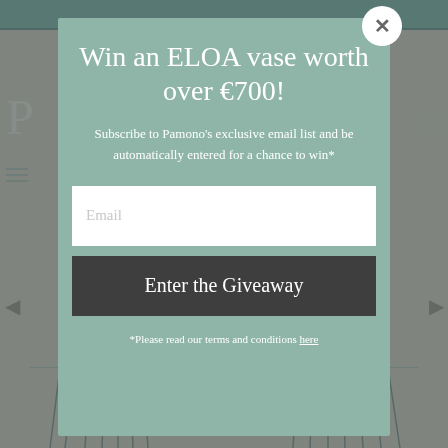[Figure (screenshot): Website popup modal over blurred background. Modal has a sage/teal green background with white text. Title reads 'Win an ELOA vase worth over €700!'. Subtitle: 'Subscribe to Pamono's exclusive email list and be automatically entered for a chance to win*'. An email input field and a dark 'Enter the Giveaway' button, plus footnote about terms and conditions with 'here' link. Close button (X) top right of modal.]